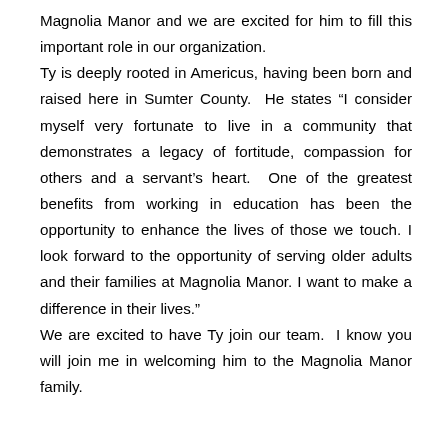Magnolia Manor and we are excited for him to fill this important role in our organization. Ty is deeply rooted in Americus, having been born and raised here in Sumter County.  He states “I consider myself very fortunate to live in a community that demonstrates a legacy of fortitude, compassion for others and a servant’s heart.  One of the greatest benefits from working in education has been the opportunity to enhance the lives of those we touch. I look forward to the opportunity of serving older adults and their families at Magnolia Manor. I want to make a difference in their lives.” We are excited to have Ty join our team.  I know you will join me in welcoming him to the Magnolia Manor family.